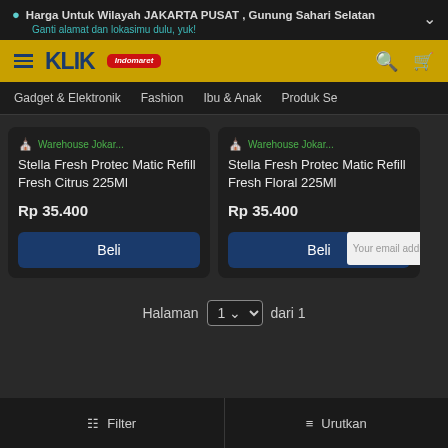Harga Untuk Wilayah JAKARTA PUSAT , Gunung Sahari Selatan
Ganti alamat dan lokasimu dulu, yuk!
[Figure (screenshot): KLIK Indomaret navigation bar with hamburger menu, brand logo, search icon and cart icon on gold/yellow background]
Gadget & Elektronik   Fashion   Ibu & Anak   Produk Se...
Warehouse Jokar...
Stella Fresh Protec Matic Refill Fresh Citrus 225Ml
Rp 35.400
Beli
Warehouse Jokar...
Stella Fresh Protec Matic Refill Fresh Floral 225Ml
Rp 35.400
Beli
Halaman  1  dari 1
Filter   Urutkan